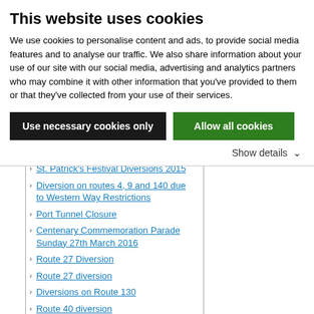This website uses cookies
We use cookies to personalise content and ads, to provide social media features and to analyse our traffic. We also share information about your use of our site with our social media, advertising and analytics partners who may combine it with other information that you’ve provided to them or that they’ve collected from your use of their services.
Use necessary cookies only
Allow all cookies
Show details ⌄
St. Patrick’s Festival Diversions 2015
Diversion on routes 4, 9 and 140 due to Western Way Restrictions
Port Tunnel Closure
Centenary Commemoration Parade Sunday 27th March 2016
Route 27 Diversion
Route 27 diversion
Diversions on Route 130
Route 40 diversion
Normal Service Resumed in Fleet St
Route 44b - Bad